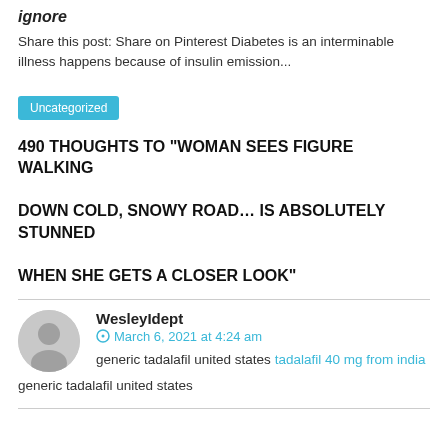ignore
Share this post: Share on Pinterest Diabetes is an interminable illness happens because of insulin emission...
Uncategorized
490 THOUGHTS TO “WOMAN SEES FIGURE WALKING DOWN COLD, SNOWY ROAD… IS ABSOLUTELY STUNNED WHEN SHE GETS A CLOSER LOOK”
WesleyIdept
March 6, 2021 at 4:24 am
generic tadalafil united states tadalafil 40 mg from india
generic tadalafil united states